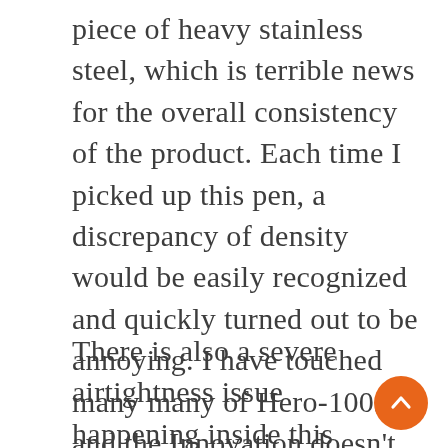piece of heavy stainless steel, which is terrible news for the overall consistency of the product. Each time I picked up this pen, a discrepancy of density would be easily recognized and quickly turned out to be annoying. I have touched many many of Hero-100s, and the Innovation doesn't have the most pleasant weight distribution and haptic feelings.
There is also a severe airtightness issue happening inside this Innovation Edition since every morning I picked it up to jog my mooring notes down, I had encountered issues like hard start and ink starvation, even if it ended up in a smooth and wet writer the night before. Sometimes this nib starts well if the frequency